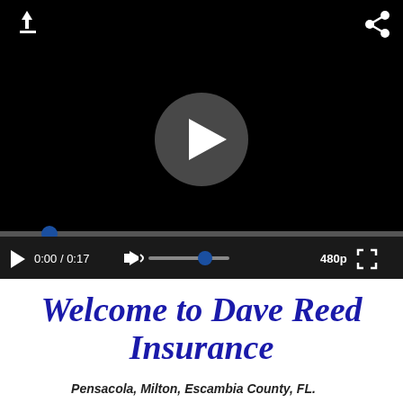[Figure (screenshot): Embedded video player with black background, play button in center, progress bar, and controls bar showing 0:00 / 0:17, volume, 480p, and fullscreen icons. Download and share icons visible in top corners.]
Welcome to Dave Reed Insurance
Pensacola, Milton, Escambia County, FL.